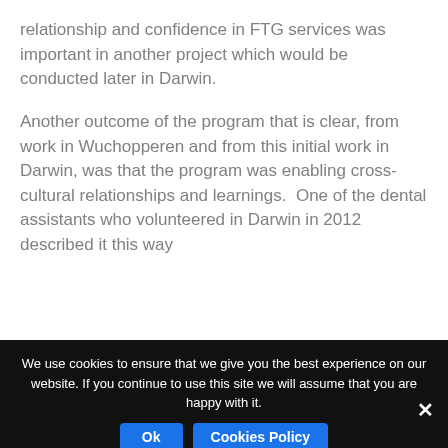relationship and confidence in FTG services was important in another project which would be conducted later in Darwin.
Another outcome of the program that is clear, from work in Wuchopperen and from this initial work in Darwin, was that the program was enabling cross-cultural relationships and learnings.  One of the dental assistants who volunteered in Darwin in 2012 described it this way
We use cookies to ensure that we give you the best experience on our website. If you continue to use this site we will assume that you are happy with it.